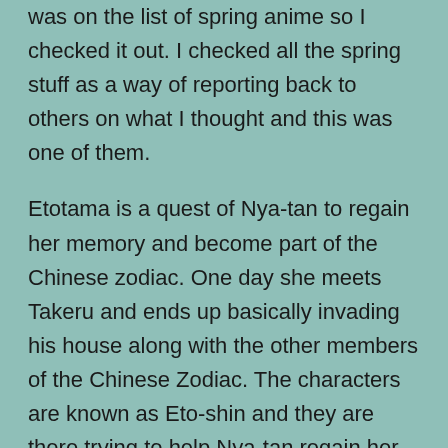was on the list of spring anime so I checked it out. I checked all the spring stuff as a way of reporting back to others on what I thought and this was one of them.
Etotama is a quest of Nya-tan to regain her memory and become part of the Chinese zodiac. One day she meets Takeru and ends up basically invading his house along with the other members of the Chinese Zodiac. The characters are known as Eto-shin and they are there trying to help Nya-tan regain her lost past.
Takeru is a regular teenage boy trying to live a